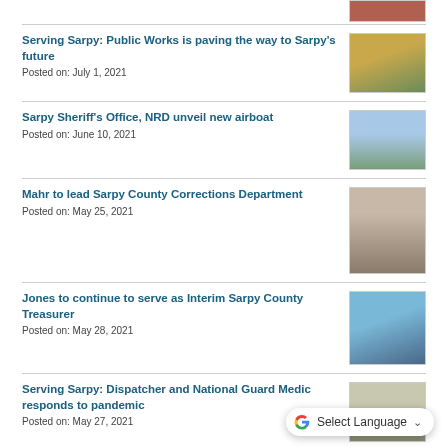[Figure (photo): Partial thumbnail of a photo at top right corner]
Serving Sarpy: Public Works is paving the way to Sarpy's future
Posted on: July 1, 2021
[Figure (photo): Construction equipment photo thumbnail]
Sarpy Sheriff's Office, NRD unveil new airboat
Posted on: June 10, 2021
[Figure (photo): Airboat on water thumbnail]
Mahr to lead Sarpy County Corrections Department
Posted on: May 25, 2021
[Figure (photo): Portrait of a man in suit and tie]
Jones to continue to serve as Interim Sarpy County Treasurer
Posted on: May 28, 2021
[Figure (photo): Modern building with glass exterior thumbnail]
Serving Sarpy: Dispatcher and National Guard Medic responds to pandemic
Posted on: May 27, 2021
[Figure (photo): Partial thumbnail at bottom right]